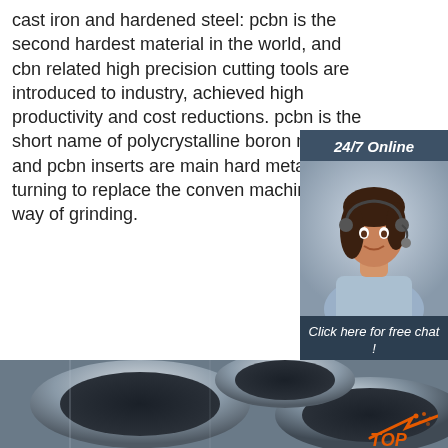cast iron and hardened steel: pcbn is the second hardest material in the world, and cbn related high precision cutting tools are introduced to industry, achieved high productivity and cost reductions. pcbn is the short name of polycrystalline boron nitride, and pcbn inserts are mainly used for hard metal turning to replace the conventional machining way of grinding.
[Figure (infographic): Customer service chat widget with '24/7 Online' header, photo of woman with headset, 'Click here for free chat!' text, and orange QUOTATION button]
[Figure (photo): Stack of metal pipes/tubes shown from the end, grey steel hollow cylinders]
[Figure (logo): Orange arrow TOP badge with dots in bottom right corner]